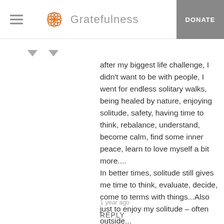Gratefulness | DONATE
after my biggest life challenge, I didn't want to be with people, I went for endless solitary walks, being healed by nature, enjoying solitude, safety, having time to think, rebalance, understand, become calm, find some inner peace, learn to love myself a bit more.... In better times, solitude still gives me time to think, evaluate, decide, come to terms with things...Also just to enjoy my solitude – often outside...
Read More
1 year ago
REPLY